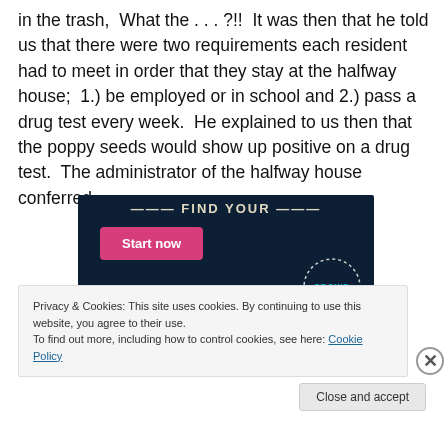in the trash,  What the . . . ?!!  It was then that he told us that there were two requirements each resident had to meet in order that they stay at the halfway house;  1.) be employed or in school and 2.) pass a drug test every week.  He explained to us then that the poppy seeds would show up positive on a drug test.  The administrator of the halfway house conferred.
[Figure (screenshot): Advertisement banner with dark blue background showing 'Start now' pink button and a circular CROWD logo on the right]
Privacy & Cookies: This site uses cookies. By continuing to use this website, you agree to their use.
To find out more, including how to control cookies, see here: Cookie Policy
Close and accept